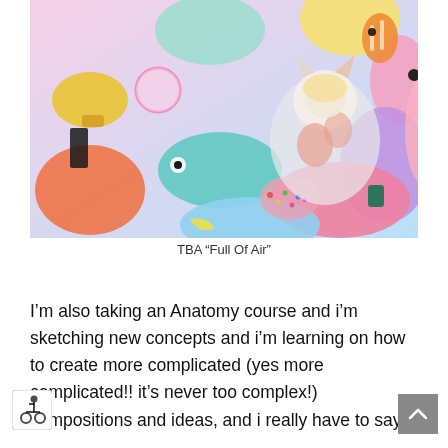[Figure (photo): A colorful artistic photo of a person in a white furry cat costume lying among many inflatable pool toys and balloons of various shapes, colors, and characters including fish, animals, and decorative inflatables.]
TBA "Full Of Air"
I'm also taking an Anatomy course and i'm sketching new concepts and i'm learning on how to create more complicated (yes more complicated!! it's never too complex!) compositions and ideas, and i really have to say